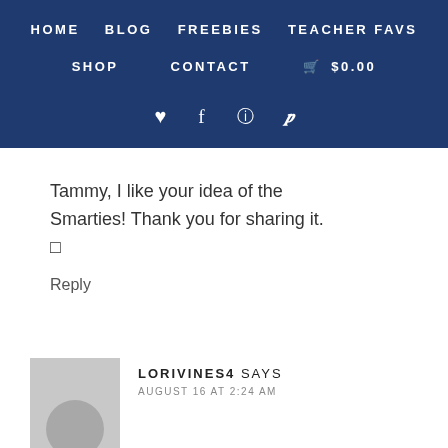HOME  BLOG  FREEBIES  TEACHER FAVS  SHOP  CONTACT  $0.00
Tammy, I like your idea of the Smarties! Thank you for sharing it. 🙂
Reply
LORIVINES4 SAYS
AUGUST 16 AT 2:24 AM